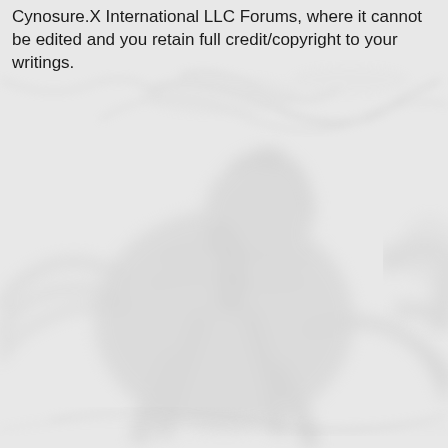Cynosure.X International LLC Forums, where it cannot be edited and you retain full credit/copyright to your writings.
[Figure (illustration): Faint embossed or watermark-style illustration of a rearing horse or lion creature, rendered in light gray tones against a light gray background, occupying most of the lower portion of the page.]